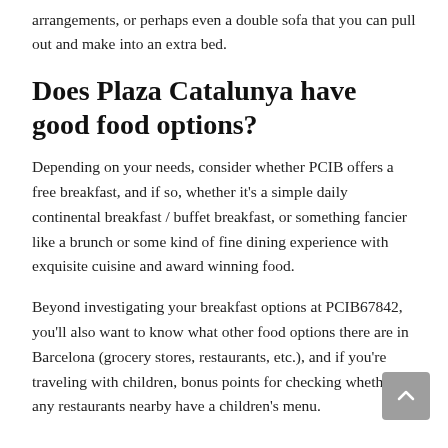arrangements, or perhaps even a double sofa that you can pull out and make into an extra bed.
Does Plaza Catalunya have good food options?
Depending on your needs, consider whether PCIB offers a free breakfast, and if so, whether it's a simple daily continental breakfast / buffet breakfast, or something fancier like a brunch or some kind of fine dining experience with exquisite cuisine and award winning food.
Beyond investigating your breakfast options at PCIB67842, you'll also want to know what other food options there are in Barcelona (grocery stores, restaurants, etc.), and if you're traveling with children, bonus points for checking whether any restaurants nearby have a children's menu.